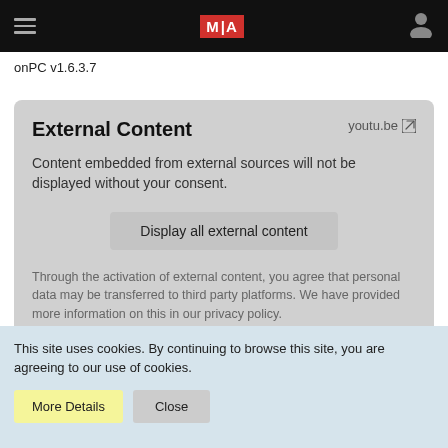[Figure (screenshot): Top navigation bar with hamburger menu icon on left, MA logo in red box in center, user profile icon on right, all on black background]
onPC v1.6.3.7
External Content
youtu.be ↗
Content embedded from external sources will not be displayed without your consent.
Display all external content
Through the activation of external content, you agree that personal data may be transferred to third party platforms. We have provided more information on this in our privacy policy.
This site uses cookies. By continuing to browse this site, you are agreeing to our use of cookies.
More Details
Close